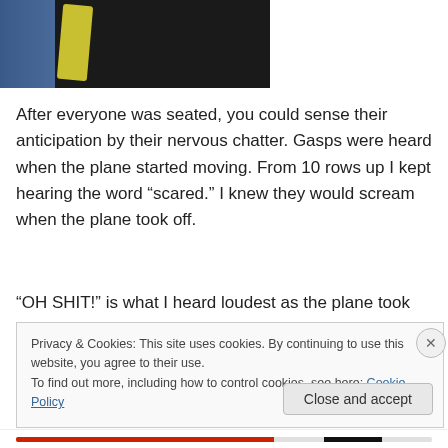[Figure (photo): Photo of people on an airplane, dark interior with someone in a yellow-green jacket visible]
After everyone was seated, you could sense their anticipation by their nervous chatter. Gasps were heard when the plane started moving. From 10 rows up I kept hearing the word “scared.” I knew they would scream when the plane took off.
“OH SHIT!” is what I heard loudest as the plane took flight.
Privacy & Cookies: This site uses cookies. By continuing to use this website, you agree to their use.
To find out more, including how to control cookies, see here: Cookie Policy
Close and accept